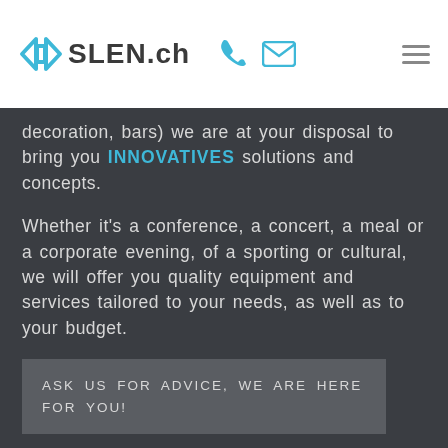SLEN.ch
decoration, bars) we are at your disposal to bring you INNOVATIVES solutions and concepts.
Whether it’s a conference, a concert, a meal or a corporate evening, of a sporting or cultural, we will offer you quality equipment and services tailored to your needs, as well as to your budget.
ASK US FOR ADVICE, WE ARE HERE FOR YOU!